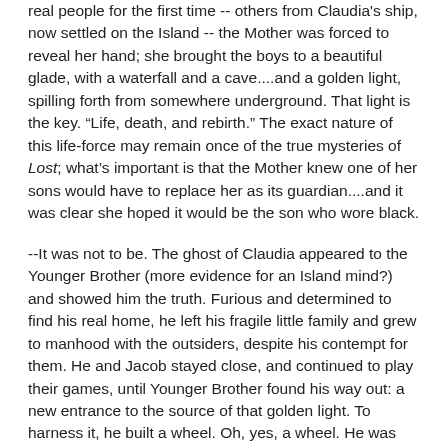real people for the first time -- others from Claudia's ship, now settled on the Island -- the Mother was forced to reveal her hand; she brought the boys to a beautiful glade, with a waterfall and a cave....and a golden light, spilling forth from somewhere underground. That light is the key. "Life, death, and rebirth." The exact nature of this life-force may remain once of the true mysteries of Lost; what's important is that the Mother knew one of her sons would have to replace her as its guardian....and it was clear she hoped it would be the son who wore black.
--It was not to be. The ghost of Claudia appeared to the Younger Brother (more evidence for an Island mind?) and showed him the truth. Furious and determined to find his real home, he left his fragile little family and grew to manhood with the outsiders, despite his contempt for them. He and Jacob stayed close, and continued to play their games, until Younger Brother found his way out: a new entrance to the source of that golden light. To harness it, he built a wheel. Oh, yes, a wheel. He was planning to unlock forces he could not understand, and so the Mother foiled his plan. She was forced to accept that her favorite had failed, and so it was